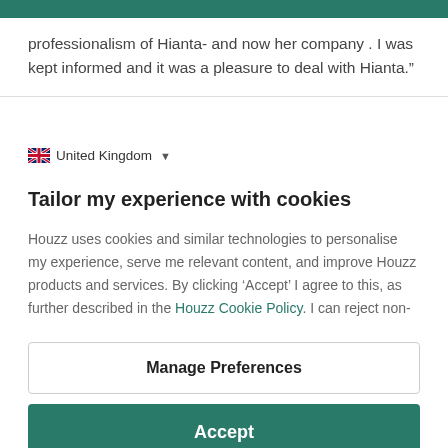professionalism of Hianta- and now her company . I was kept informed and it was a pleasure to deal with Hianta.”
United Kingdom
Tailor my experience with cookies
Houzz uses cookies and similar technologies to personalise my experience, serve me relevant content, and improve Houzz products and services. By clicking ‘Accept’ I agree to this, as further described in the Houzz Cookie Policy. I can reject non-
Manage Preferences
Accept